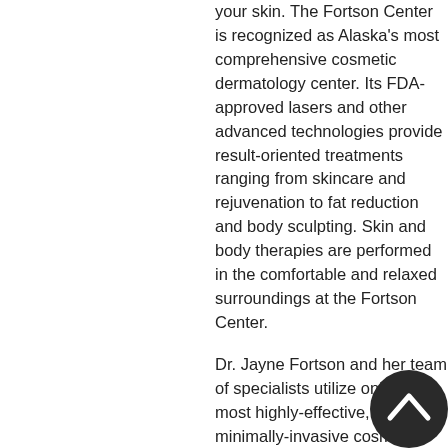your skin. The Fortson Center is recognized as Alaska's most comprehensive cosmetic dermatology center. Its FDA-approved lasers and other advanced technologies provide result-oriented treatments ranging from skincare and rejuvenation to fat reduction and body sculpting. Skin and body therapies are performed in the comfortable and relaxed surroundings at the Fortson Center.
Dr. Jayne Fortson and her team of specialists utilize only the most highly-effective, minimally-invasive cosmetic treatments. Their breadth of expertise enables them to combine a range of approaches which bring the most beneficial, visible results. Every treatment focused on the health and natural beauty of your skin. Unlike many other centers, Dr. Fortson performs or oversees all cosmeti...
[Figure (other): Dark circular scroll-to-top button with upward-pointing chevron arrow icon]